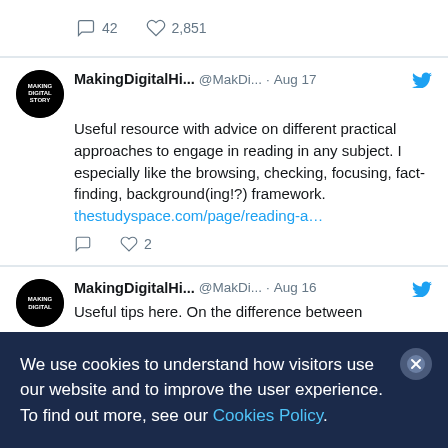42  2,851
MakingDigitalHi...  @MakDi...  · Aug 17
Useful resource with advice on different practical approaches to engage in reading in any subject. I especially like the browsing, checking, focusing, fact-finding, background(ing!?) framework.
thestudyspace.com/page/reading-a…
♡ 2
MakingDigitalHi...  @MakDi...  · Aug 16
Useful tips here. On the difference between
We use cookies to understand how visitors use our website and to improve the user experience. To find out more, see our Cookies Policy.